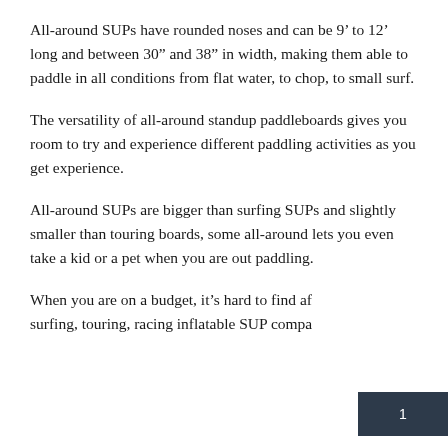All-around SUPs have rounded noses and can be 9' to 12' long and between 30" and 38" in width, making them able to paddle in all conditions from flat water, to chop, to small surf.
The versatility of all-around standup paddleboards gives you room to try and experience different paddling activities as you get experience.
All-around SUPs are bigger than surfing SUPs and slightly smaller than touring boards, some all-around lets you even take a kid or a pet when you are out paddling.
When you are on a budget, it's hard to find af surfing, touring, racing inflatable SUP compa